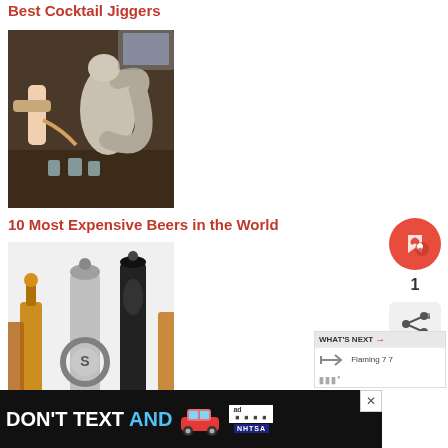Best Cocktail Jiggers
[Figure (photo): A squirrel-shaped jigger being used to pour a drink, with shot glasses on a dark wooden table]
10 Most Expensive Beers in the World
[Figure (photo): Several luxury tequila bottles including an ornate silver bottle]
10 Most Expensive Tequilas In The World
[Figure (infographic): DON'T TEXT AND [car emoji] advertisement banner with ad choices and NHTSA logo]
[Figure (other): What's Next panel showing Flaming 7 7 with arrow, and social share widget with heart icon and count of 1]